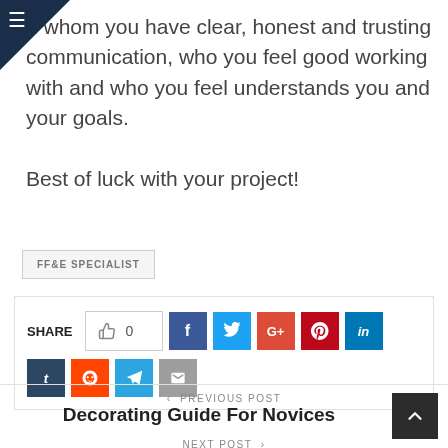h whom you have clear, honest and trusting communication, who you feel good working with and who you feel understands you and your goals.

Best of luck with your project!
FF&E SPECIALIST
SHARE  0  f  t  G+  P  in  t  r  (telegram)  (email)
< PREVIOUS POST
Decorating Guide For Novices
NEXT POST >